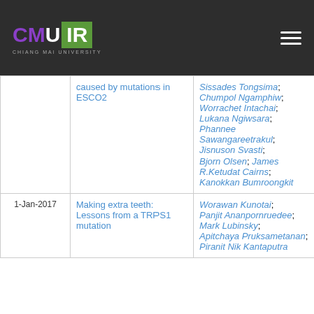CMU IR - Chiang Mai University Institutional Repository
| Date | Title | Author(s) |
| --- | --- | --- |
|  | caused by mutations in ESCO2 | Sissades Tongsima; Chumpol Ngamphiw; Worrachet Intachai; Lukana Ngiwsara; Phannee Sawangareetrakul; Jisnuson Svasti; Bjorn Olsen; James R.Ketudat Cairns; Kanokkan Bumroongkit |
| 1-Jan-2017 | Making extra teeth: Lessons from a TRPS1 mutation | Worawan Kunotai; Panjit Ananpornruedee; Mark Lubinsky; Apitchaya Pruksametanan; Piranit Nik Kantaputra |